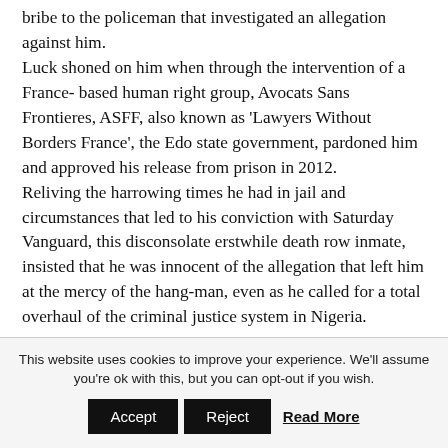bribe to the policeman that investigated an allegation against him. Luck shoned on him when through the intervention of a France- based human right group, Avocats Sans Frontieres, ASFF, also known as 'Lawyers Without Borders France', the Edo state government, pardoned him and approved his release from prison in 2012. Reliving the harrowing times he had in jail and circumstances that led to his conviction with Saturday Vanguard, this disconsolate erstwhile death row inmate, insisted that he was innocent of the allegation that left him at the mercy of the hang-man, even as he called for a total overhaul of the criminal justice system in Nigeria.
This website uses cookies to improve your experience. We'll assume you're ok with this, but you can opt-out if you wish. Accept Reject Read More